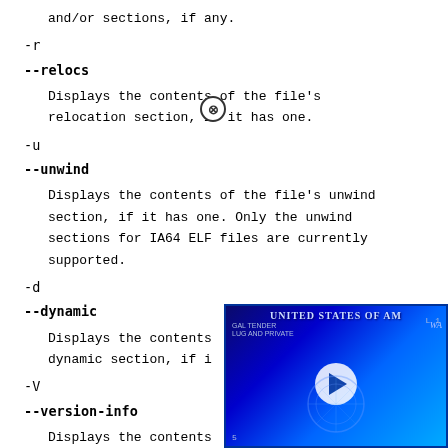and/or sections, if any.
-r
--relocs
Displays the contents of the file's relocation section, if it has one.
-u
--unwind
Displays the contents of the file's unwind section, if it has one. Only the unwind sections for IA64 ELF files are currently supported.
-d
--dynamic
Displays the contents of the dynamic section, if i[t has one.]
-V
--version-info
Displays the contents [of the ...]
[Figure (other): Partially visible advertisement overlay showing a blue US dollar bill graphic with a video play button, partially covering the lower right corner of the document. A close button (X in circle) is visible at the top-left of the ad.]